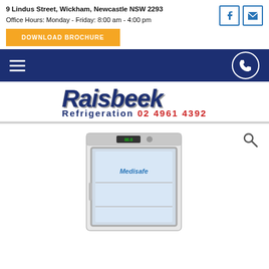9 Lindus Street, Wickham, Newcastle NSW 2293
Office Hours: Monday - Friday: 8:00 am - 4:00 pm
[Figure (logo): Raisbeek Refrigeration logo with stylized italic text and phone number 02 4961 4392]
[Figure (photo): Medisafe medical refrigerator with glass door, white body, digital display on top]